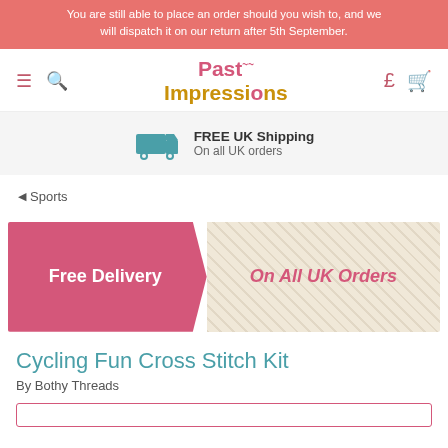You are still able to place an order should you wish to, and we will dispatch it on our return after 5th September.
[Figure (screenshot): Past Impressions website navigation bar with hamburger menu, search icon, logo, currency (£) and cart icons]
[Figure (infographic): FREE UK Shipping - On all UK orders banner with teal delivery truck icon]
◄ Sports
[Figure (infographic): Free Delivery On All UK Orders promotional banner with pink left section and linen-texture right section]
Cycling Fun Cross Stitch Kit
By Bothy Threads